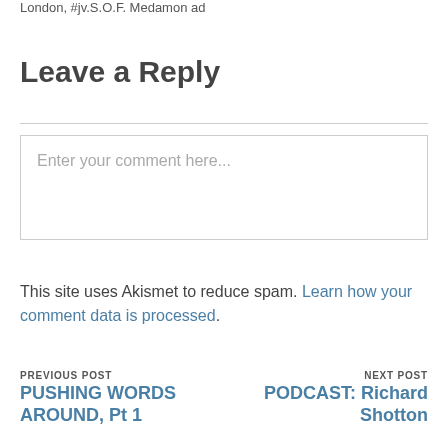London, #jv.S.O.P. Medamon ad
Leave a Reply
Enter your comment here...
This site uses Akismet to reduce spam. Learn how your comment data is processed.
PREVIOUS POST
PUSHING WORDS AROUND, Pt 1
NEXT POST
PODCAST: Richard Shotton